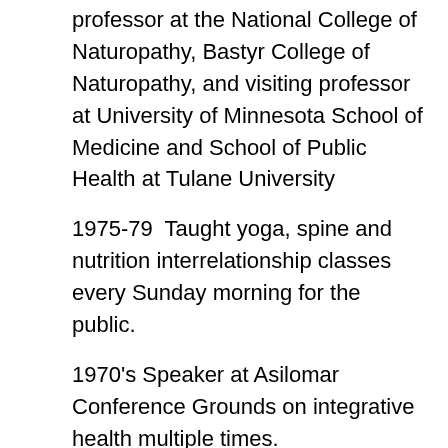professor at the National College of Naturopathy, Bastyr College of Naturopathy, and visiting professor at University of Minnesota School of Medicine and School of Public Health at Tulane University
1975-79  Taught yoga, spine and nutrition interrelationship classes every Sunday morning for the public.
1970's Speaker at Asilomar Conference Grounds on integrative health multiple times.
1981-89 Keynote speaker for up to 60 various relicensing seminars for M.D.s, dentists,